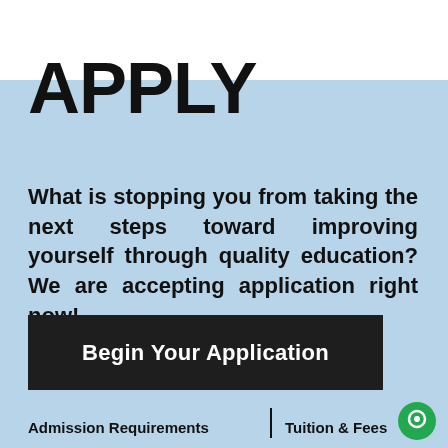APPLY
What is stopping you from taking the next steps toward improving yourself through quality education? We are accepting application right now!
Begin Your Application
Admission Requirements
Tuition & Fees